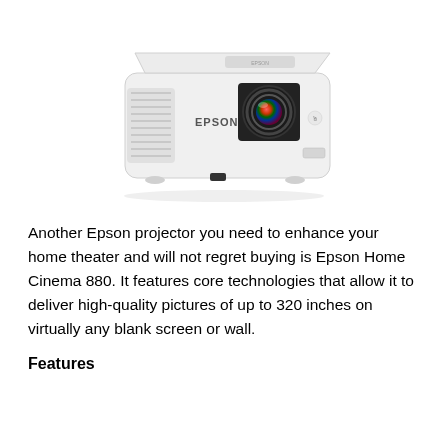[Figure (photo): White Epson Home Cinema 880 projector shown from a front-top angle, displaying the EPSON logo on the front panel and a prominent lens in the center.]
Another Epson projector you need to enhance your home theater and will not regret buying is Epson Home Cinema 880. It features core technologies that allow it to deliver high-quality pictures of up to 320 inches on virtually any blank screen or wall.
Features